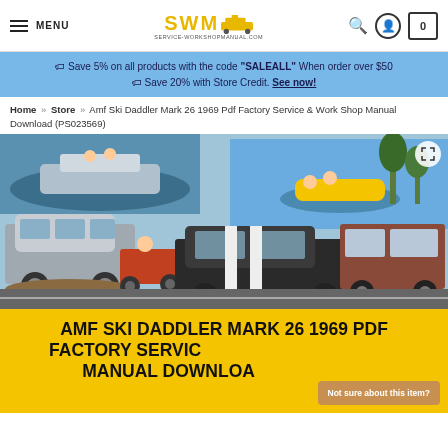MENU | SWM SERVICE-WORKSHOPMANUAL.COM | search | account | 0
🏷 Save 5% on all products with the code "SALEALL" When order over $50
🏷 Save 20% with Store Credit. See now!
Home » Store » Amf Ski Daddler Mark 26 1969 Pdf Factory Service & Work Shop Manual Download (PS023569)
[Figure (photo): Collage of recreational vehicles and activities: boat, jet ski riders, Jeep off-roading, classic muscle car, motorhome/RV on road]
AMF SKI DADDLER MARK 26 1969 PDF FACTORY SERVICE & FACTORY SERVICE MANUAL DOWNLOAD (PS023569)
Not sure about this item?